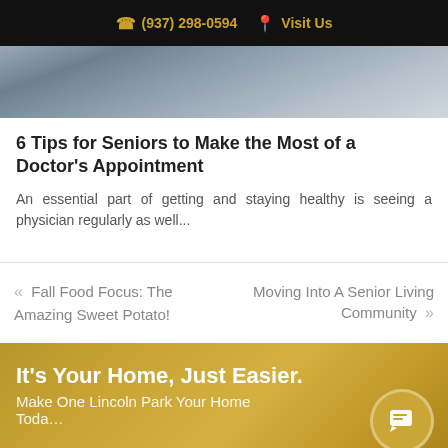(937) 298-0594  Visit Us
[Figure (photo): Partial view of a medical/doctor visit scene, cropped at top]
6 Tips for Seniors to Make the Most of a Doctor’s Appointment
An essential part of getting and staying healthy is seeing a physician regularly as well...
«  Fall Food Focus: The Amazing Sweet Potato!
Moving Into A Senior Living Community  »
It's Your Home, Just Easier.
Make One Lincoln Park Your Home Today